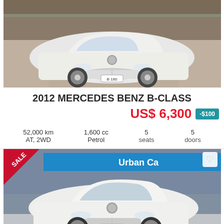[Figure (photo): White 2012 Mercedes Benz B-Class parked indoors, front view, white car in parking area]
2012 MERCEDES BENZ B-CLASS
US$ 6,300  -$100
52,000 km  AT, 2WD  |  1,600 cc  Petrol  |  5 seats  |  5 doors
[Figure (photo): White 2013 Mercedes Benz C-Class parked outside Urban Cars dealer, front three-quarter view, SALE badge on image]
2013 MERCEDES BENZ C-CLASS
US$ 6,330  -$100